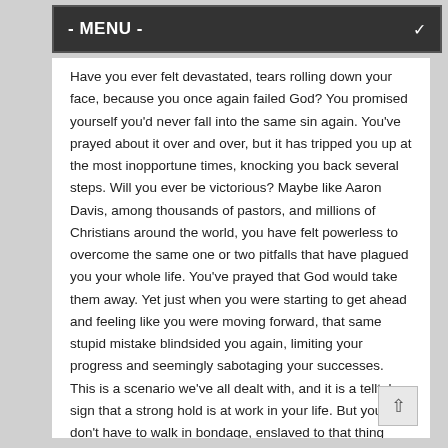- MENU -
Have you ever felt devastated, tears rolling down your face, because you once again failed God? You promised yourself you'd never fall into the same sin again. You've prayed about it over and over, but it has tripped you up at the most inopportune times, knocking you back several steps. Will you ever be victorious? Maybe like Aaron Davis, among thousands of pastors, and millions of Christians around the world, you have felt powerless to overcome the same one or two pitfalls that have plagued you your whole life. You've prayed that God would take them away. Yet just when you were starting to get ahead and feeling like you were moving forward, that same stupid mistake blindsided you again, limiting your progress and seemingly sabotaging your successes. This is a scenario we've all dealt with, and it is a telltale sign that a strong hold is at work in your life. But you don't have to walk in bondage, enslaved to that thing anymore! God created you for greatness! He has provided the means to walk in victory over